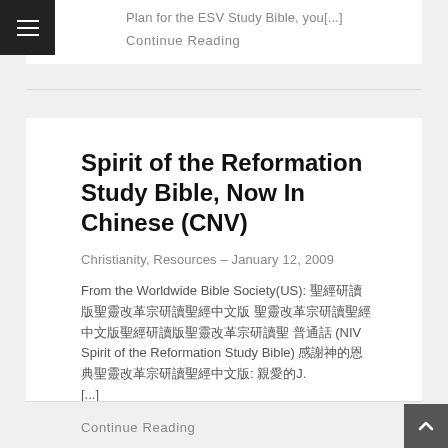Plan for the ESV Study Bible, you[...]
Continue Reading
Spirit of the Reformation Study Bible, Now In Chinese (CNV)
Christianity, Resources – January 12, 2009
From the Worldwide Bible Society(US): 聖經研讀版聖靈改革宗研讀聖經中文版 普通話 (NIV Spirit of the Reformation Study Bible) 感謝神的恩典，聖靈改革宗: 親愛的J. [...]
Continue Reading